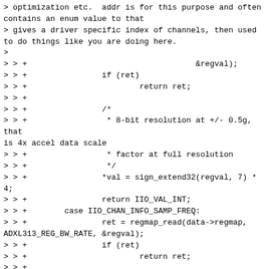> optimization etc.  addr is for this purpose and often contains an enum value to that
> gives a driver specific index of channels, then used to do things like you are doing here.
>
> > +                                    &regval);
> > +                if (ret)
> > +                        return ret;
> > +
> > +                /*
> > +                 * 8-bit resolution at +/- 0.5g, that is 4x accel data scale
> > +                 * factor at full resolution
> > +                 */
> > +                *val = sign_extend32(regval, 7) * 4;
> > +                return IIO_VAL_INT;
> > +        case IIO_CHAN_INFO_SAMP_FREQ:
> > +                ret = regmap_read(data->regmap, ADXL313_REG_BW_RATE, &regval);
> > +                if (ret)
> > +                        return ret;
> > +
> > +                ret = FIELD_GET(ADXL313_RATE_MSK, regval) - ADXL313_RATE_BASE;
> > +                *val = adxl313_odr_freqs[ret][0];
> > +                *val2 = adxl313_odr_freqs[ret][1];
> > +                return IIO_VAL_INT_PLUS_MICRO;
> > +        default:
> > +                return -EINVAL;
> > +        }
> > +